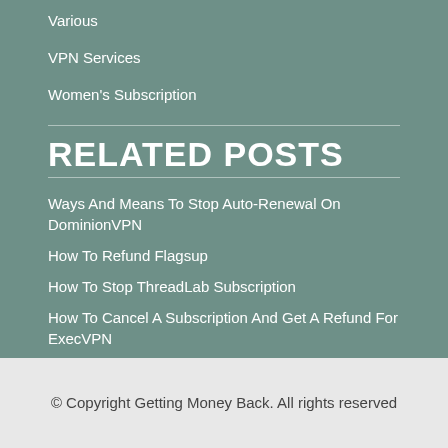Various
VPN Services
Women's Subscription
RELATED POSTS
Ways And Means To Stop Auto-Renewal On DominionVPN
How To Refund Flagsup
How To Stop ThreadLab Subscription
How To Cancel A Subscription And Get A Refund For ExecVPN
How To Stop Subscription Kali
© Copyright Getting Money Back. All rights reserved